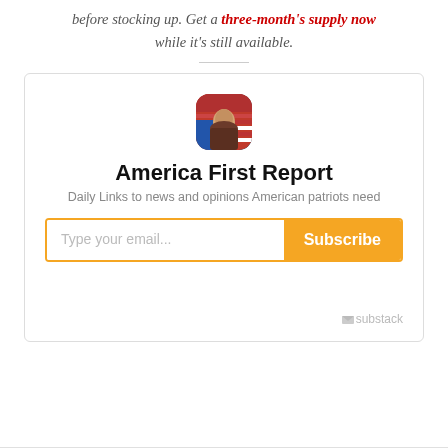before stocking up. Get a three-month's supply now while it's still available.
[Figure (illustration): Rounded square avatar photo of a person with American flag background]
America First Report
Daily Links to news and opinions American patriots need
Type your email...  Subscribe
substack